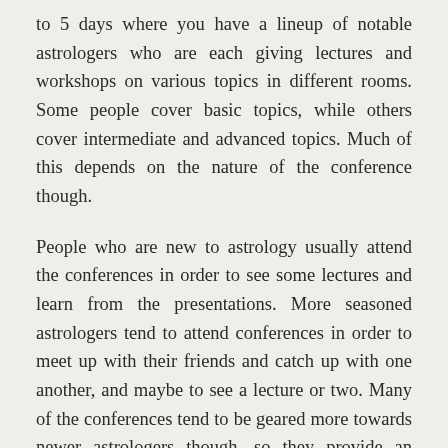to 5 days where you have a lineup of notable astrologers who are each giving lectures and workshops on various topics in different rooms. Some people cover basic topics, while others cover intermediate and advanced topics. Much of this depends on the nature of the conference though.
People who are new to astrology usually attend the conferences in order to see some lectures and learn from the presentations. More seasoned astrologers tend to attend conferences in order to meet up with their friends and catch up with one another, and maybe to see a lecture or two. Many of the conferences tend to be geared more towards newer astrologers though, so they provide an excellent learning opportunity, as well as the chance to meet some other astrologers and build friendships.